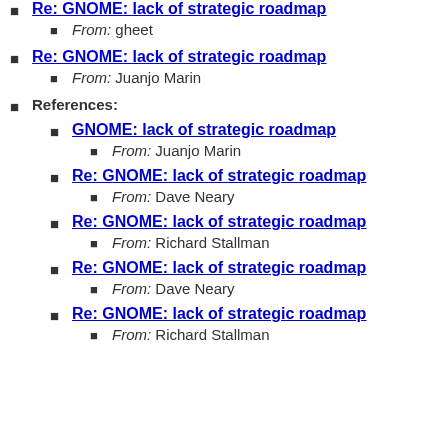Re: GNOME: lack of strategic roadmap
From: gheet
Re: GNOME: lack of strategic roadmap
From: Juanjo Marin
References:
GNOME: lack of strategic roadmap
From: Juanjo Marin
Re: GNOME: lack of strategic roadmap
From: Dave Neary
Re: GNOME: lack of strategic roadmap
From: Richard Stallman
Re: GNOME: lack of strategic roadmap
From: Dave Neary
Re: GNOME: lack of strategic roadmap
From: Richard Stallman